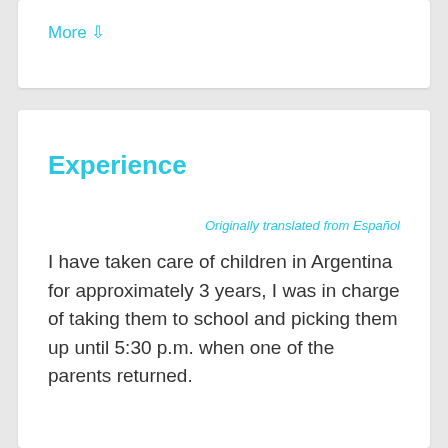More ⇩
Experience
Originally translated from Español
I have taken care of children in Argentina for approximately 3 years, I was in charge of taking them to school and picking them up until 5:30 p.m. when one of the parents returned.